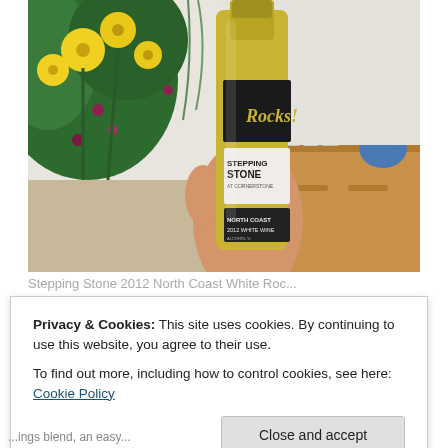[Figure (photo): A hand holding a gold wine bottle labeled 'Rocks! Stepping Stone at Cornerstone, North Coast 2012 White Wine', with yellow flowers and a wooden sideboard visible in the background.]
Stepping Stone 2012 North Coast White Roc...
Privacy & Cookies: This site uses cookies. By continuing to use this website, you agree to their use.
To find out more, including how to control cookies, see here: Cookie Policy
Close and accept
...ings blend, an easy...